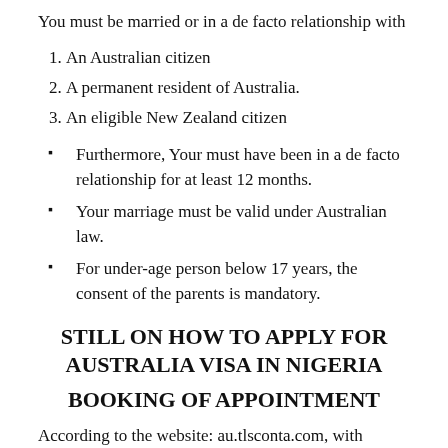You must be married or in a de facto relationship with
An Australian citizen
A permanent resident of Australia.
An eligible New Zealand citizen
Furthermore, Your must have been in a de facto relationship for at least 12 months.
Your marriage must be valid under Australian law.
For under-age person below 17 years, the consent of the parents is mandatory.
STILL ON HOW TO APPLY FOR AUSTRALIA VISA IN NIGERIA
BOOKING OF APPOINTMENT
According to the website: au.tlsconta.com, with